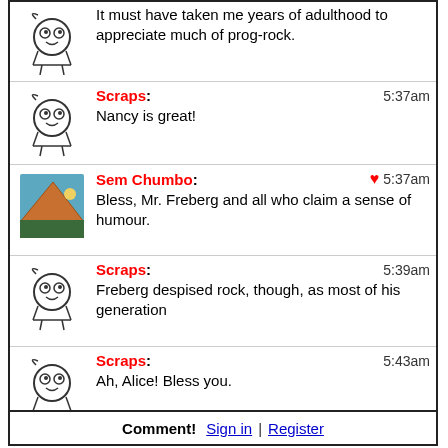It must have taken me years of adulthood to appreciate much of prog-rock.
Scraps: 5:37am — Nancy is great!
Sem Chumbo: 5:37am — Bless, Mr. Freberg and all who claim a sense of humour.
Scraps: 5:39am — Freberg despised rock, though, as most of his generation
Scraps: 5:43am — Ah, Alice! Bless you.
Scraps: 5:47am — Excepting Alice
Davee: 5:47am — Roll the TP out the window . . . .
Davee: 5:49am — Kid!!!
Comment!  Sign in | Register